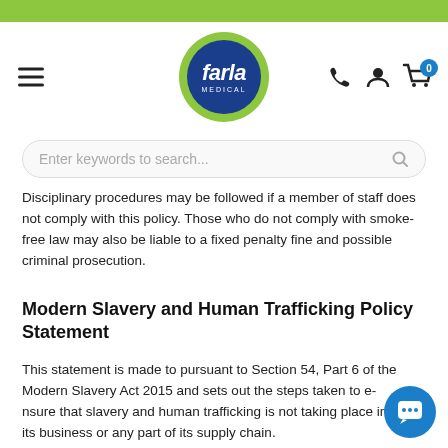[Figure (logo): Farla Medical logo — blue circle with 'farla MEDICAL' text, surrounded by a green ring]
Enter keywords to search...
Disciplinary procedures may be followed if a member of staff does not comply with this policy. Those who do not comply with smoke-free law may also be liable to a fixed penalty fine and possible criminal prosecution.
Modern Slavery and Human Trafficking Policy Statement
This statement is made to pursuant to Section 54, Part 6 of the Modern Slavery Act 2015 and sets out the steps taken to ensure that slavery and human trafficking is not taking place in its business or any part of its supply chain.